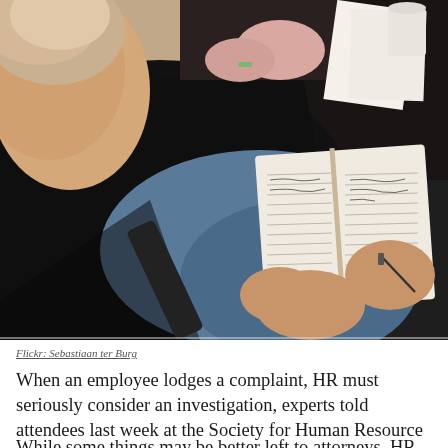[Figure (photo): Overhead view of a man in a black jacket sitting and writing in an open notebook/planner, with another person's hands visible at the top of the frame near papers on a dark desk surface. A white cup is visible in the upper right.]
Flickr: Sebastiaan ter Burg
When an employee lodges a complaint, HR must seriously consider an investigation, experts told attendees last week at the Society for Human Resource Management's (SHRM) annual conference.
While some things may be better left to attorneys, HR should feel free to conduct investigations into all